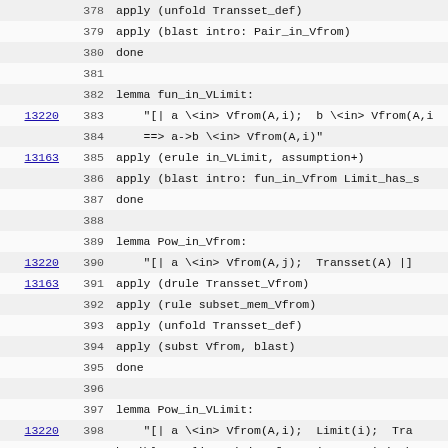| link | line | code |
| --- | --- | --- |
|  | 378 | apply (unfold Transset_def) |
|  | 379 | apply (blast intro: Pair_in_Vfrom) |
|  | 380 | done |
|  | 381 |  |
|  | 382 | lemma fun_in_VLimit: |
| 13220 | 383 |   "[| a \<in> Vfrom(A,i);  b \<in> Vfrom(A,i |
|  | 384 |     ==> a->b \<in> Vfrom(A,i)" |
| 13163 | 385 | apply (erule in_VLimit, assumption+) |
|  | 386 | apply (blast intro: fun_in_Vfrom Limit_has_s |
|  | 387 | done |
|  | 388 |  |
|  | 389 | lemma Pow_in_Vfrom: |
| 13220 | 390 |     "[| a \<in> Vfrom(A,j);  Transset(A) |] |
| 13163 | 391 | apply (drule Transset_Vfrom) |
|  | 392 | apply (rule subset_mem_Vfrom) |
|  | 393 | apply (unfold Transset_def) |
|  | 394 | apply (subst Vfrom, blast) |
|  | 395 | done |
|  | 396 |  |
|  | 397 | lemma Pow_in_VLimit: |
| 13220 | 398 |     "[| a \<in> Vfrom(A,i);  Limit(i);  Tra |
| 13203 | 399 | by (blast elim: Limit_VfromE intro: Limit_ha |
|  | 400 |  |